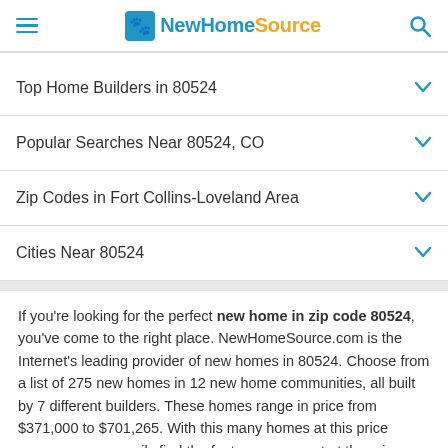NewHomeSource
Top Home Builders in 80524
Popular Searches Near 80524, CO
Zip Codes in Fort Collins-Loveland Area
Cities Near 80524
If you're looking for the perfect new home in zip code 80524, you've come to the right place. NewHomeSource.com is the Internet's leading provider of new homes in 80524. Choose from a list of 275 new homes in 12 new home communities, all built by 7 different builders. These homes range in price from $371,000 to $701,265. With this many homes at this price range, you can easily find the features you want at the price you need. If you're looking to control the build process, you can find 217 plan homes. If you need a